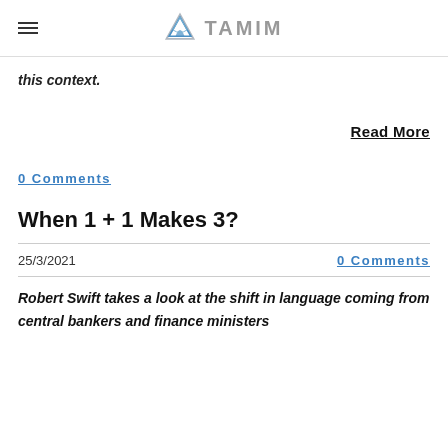TAMIM
this context.
Read More
0 Comments
When 1 + 1 Makes 3?
25/3/2021
0 Comments
Robert Swift takes a look at the shift in language coming from central bankers and finance ministers